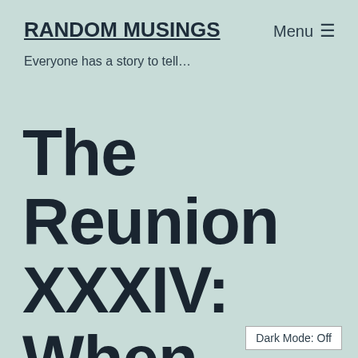RANDOM MUSINGS
Everyone has a story to tell...
The Reunion XXXIV: When Men turn Godkillers
Dark Mode: Off